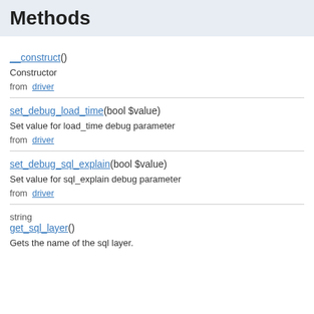Methods
__construct()
Constructor
from driver
set_debug_load_time(bool $value)
Set value for load_time debug parameter
from driver
set_debug_sql_explain(bool $value)
Set value for sql_explain debug parameter
from driver
string get_sql_layer()
Gets the name of the sql layer.